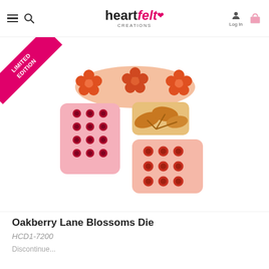Heartfelt Creations — Log In
[Figure (photo): Product photo of Oakberry Lane Blossoms Die (HCD1-7200): four die-cut stamp images showing clusters of flowers and leaves in pink, red, orange, and gold/brown colors on a white background, with a LIMITED EDITION magenta ribbon banner in the top-left corner.]
Oakberry Lane Blossoms Die
HCD1-7200
Discontinue...